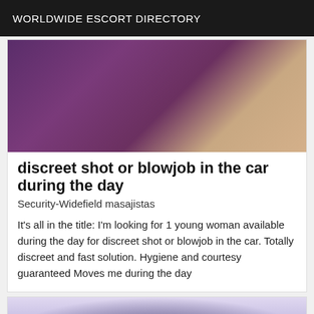WORLDWIDE ESCORT DIRECTORY
[Figure (photo): Blurred abstract photo with purple and warm beige/tan tones]
discreet shot or blowjob in the car during the day
Security-Widefield masajistas
It's all in the title: I'm looking for 1 young woman available during the day for discreet shot or blowjob in the car. Totally discreet and fast solution. Hygiene and courtesy guaranteed Moves me during the day
[Figure (photo): Partial photo showing light purple/lavender background with dark straps visible]